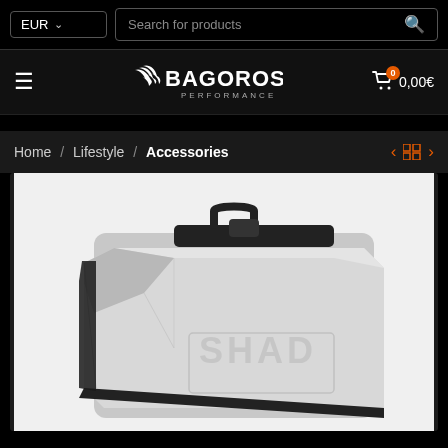EUR  Search for products
[Figure (logo): Bagoros Performance logo with stylized text and wing/hand graphic]
Home / Lifestyle / Accessories
[Figure (photo): SHAD motorcycle side case/pannier in silver aluminum finish with black trim and handle, shown at a three-quarter angle]